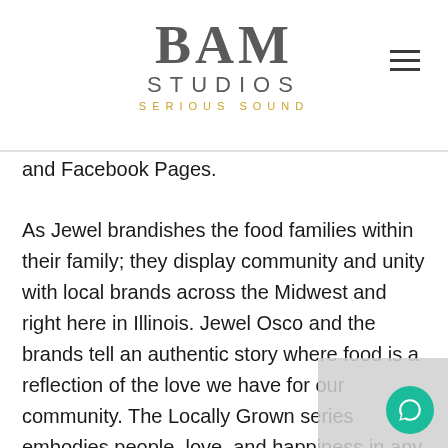BAM STUDIOS SERIOUS SOUND
and Facebook Pages.
As Jewel brandishes the food families within their family; they display community and unity with local brands across the Midwest and right here in Illinois. Jewel Osco and the brands tell an authentic story where food is a reflection of the love we have for our community. The Locally Grown series embodies people, love, and happiness in any